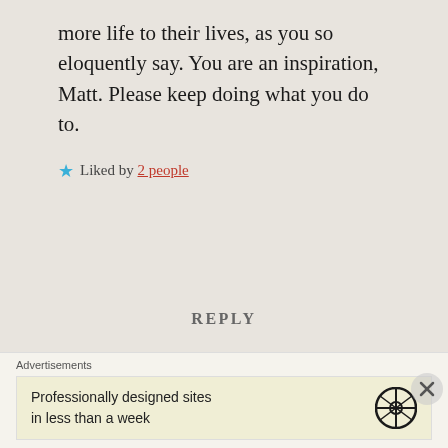more life to their lives, as you so eloquently say. You are an inspiration, Matt. Please keep doing what you do to.
★ Liked by 2 people
REPLY
Matthew Whiteside
April 16, 2019 at 5:32 pm
Thank you Marilyn you are killing me
Advertisements
Professionally designed sites in less than a week